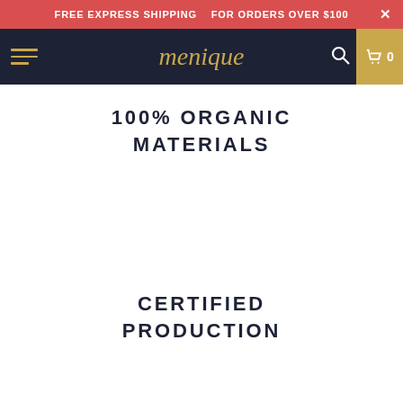FREE EXPRESS SHIPPING   FOR ORDERS OVER $100
menique
100% ORGANIC MATERIALS
CERTIFIED PRODUCTION
ZERO PLASTIC PACKAGING